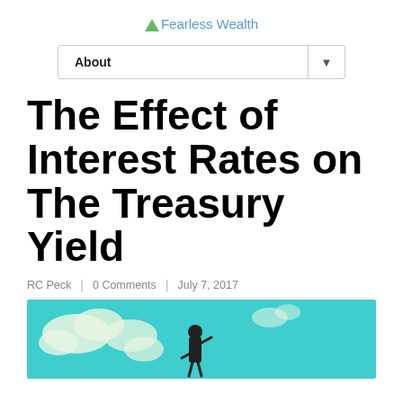Fearless Wealth
[Figure (screenshot): Navigation bar with 'About' label and dropdown arrow]
The Effect of Interest Rates on The Treasury Yield
RC Peck | 0 Comments | July 7, 2017
[Figure (illustration): Teal-colored illustration showing a person in a suit with clouds in background]